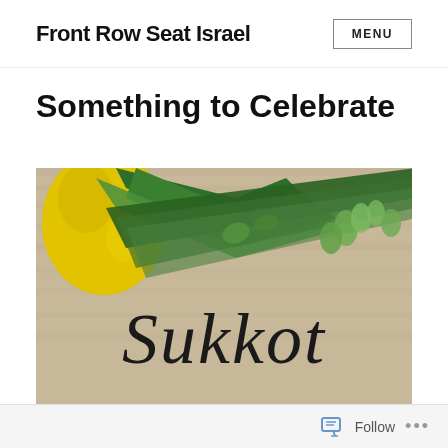Front Row Seat Israel | MENU
Something to Celebrate
[Figure (photo): Photo of Sukkot four species: etrog (yellow citron) and green plants including palm branch, myrtle, and willow on a wooden surface, with decorative 'Sukkot' text in cursive script]
Follow ...